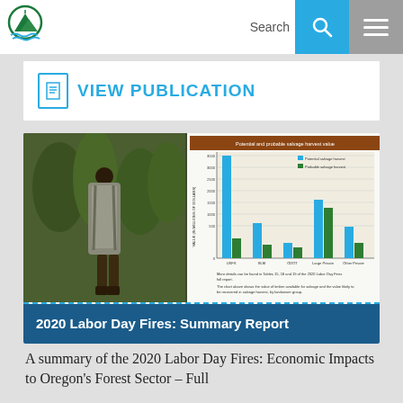Search
VIEW PUBLICATION
[Figure (photo): Person wearing a large backpack sprayer walking through green tree nursery]
[Figure (grouped-bar-chart): Grouped bar chart showing potential salvage harvest and probable salvage harvest values by landowner group (USFS, BLM, ODOT, Large Private, Other Private)]
2020 Labor Day Fires: Summary Report
A summary of the 2020 Labor Day Fires: Economic Impacts to Oregon's Forest Sector – Full